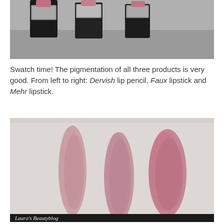[Figure (photo): Close-up photo of MAC lipstick tubes with black and silver packaging against a grey background]
Swatch time! The pigmentation of all three products is very good. From left to right: Dervish lip pencil, Faux lipstick and Mehr lipstick.
[Figure (photo): Three mauve/pink lipstick swatches on white skin/paper, labeled Laura's Beautyblog. From left to right: Dervish lip pencil, Faux lipstick, and Mehr lipstick swatches.]